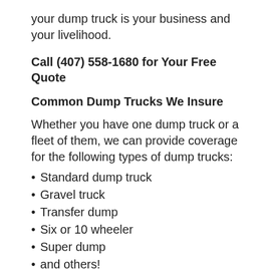your dump truck is your business and your livelihood.
Call (407) 558-1680 for Your Free Quote
Common Dump Trucks We Insure
Whether you have one dump truck or a fleet of them, we can provide coverage for the following types of dump trucks:
Standard dump truck
Gravel truck
Transfer dump
Six or 10 wheeler
Super dump
and others!
Insurance for Dump Trucks